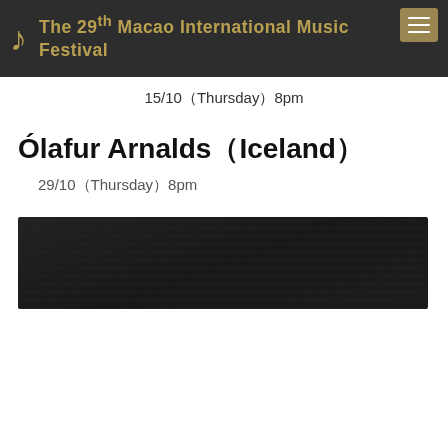The 29th Macao International Music Festival
15/10（Thursday）8pm
Ólafur Arnalds（Iceland）
29/10（Thursday）8pm
[Figure (photo): Dark atmospheric photo, possibly showing musical score or electronic equipment in dim lighting]